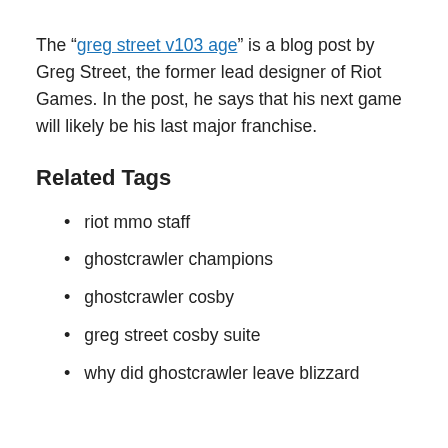The "greg street v103 age" is a blog post by Greg Street, the former lead designer of Riot Games. In the post, he says that his next game will likely be his last major franchise.
Related Tags
riot mmo staff
ghostcrawler champions
ghostcrawler cosby
greg street cosby suite
why did ghostcrawler leave blizzard